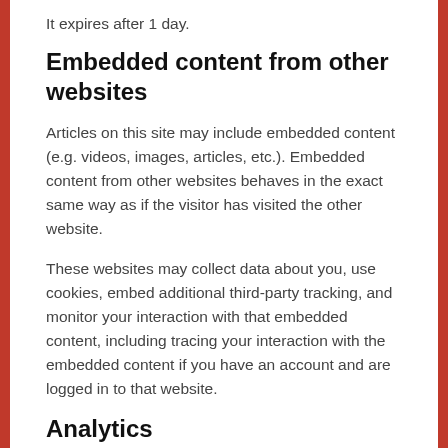It expires after 1 day.
Embedded content from other websites
Articles on this site may include embedded content (e.g. videos, images, articles, etc.). Embedded content from other websites behaves in the exact same way as if the visitor has visited the other website.
These websites may collect data about you, use cookies, embed additional third-party tracking, and monitor your interaction with that embedded content, including tracing your interaction with the embedded content if you have an account and are logged in to that website.
Analytics
Who we share your data with